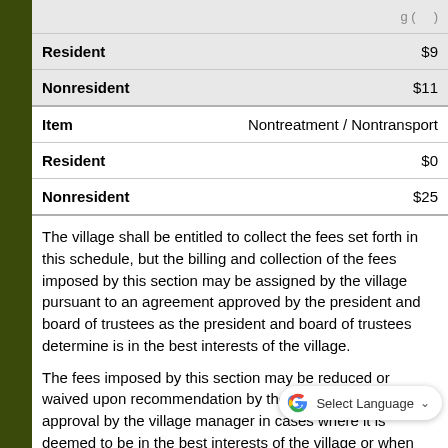| Item / Category | Value |
| --- | --- |
| Resident | $9 |
| Nonresident | $11 |
| Item | Nontreatment / Nontransport |
| Resident | $0 |
| Nonresident | $25 |
The village shall be entitled to collect the fees set forth in this schedule, but the billing and collection of the fees imposed by this section may be assigned by the village pursuant to an agreement approved by the president and board of trustees as the president and board of trustees determine is in the best interests of the village.
The fees imposed by this section may be reduced or waived upon recommendation by the finance director and approval by the village manager in cases where it is deemed to be in the best interests of the village or when payment of the fee would be an undue person receiving emergency medical transportation